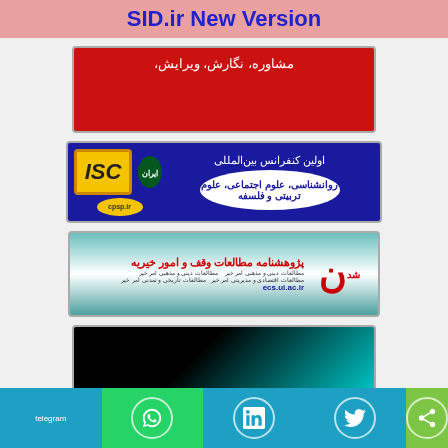SID.ir New Version
[Figure (illustration): Red banner with Persian text: مشاوره، نگارش، ویرایش،]
[Figure (illustration): ISC international conference banner in blue with yellow ISC logo, Iranian emblem, cpsp.ir badge, and Persian text: اولین کنفرانس بین‌المللی روانشناسی، علوم اجتماعی، علوم تربیتی و فلسفه]
[Figure (illustration): Teal/green journal banner with Persian title پژوهشنامه مطالعات وقف و امور خیریه, URL ecs.ui.ac.ir, and decorative Persian calligraphy logo]
[Figure (illustration): Dark banner with black to teal gradient, partially visible]
telegram | whatsapp share | linkedin | twitter | share